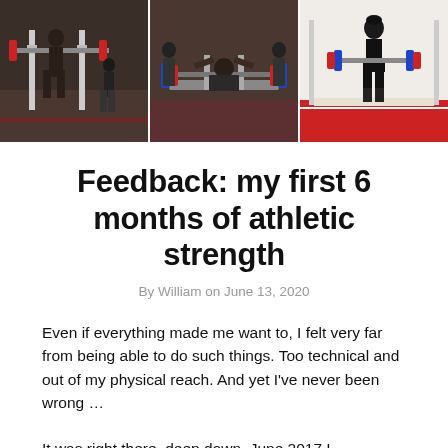[Figure (photo): Three-panel banner photo of a weightlifting/powerlifting gym with athletes performing lifts on platforms with barbells and weight plates]
Feedback: my first 6 months of athletic strength
By William on June 13, 2020
Even if everything made me want to, I felt very far from being able to do such things. Too technical and out of my physical reach. And yet I've never been wrong …
It was right there, deep down. June 2017 I accidentally came across the website of ffforce (French Federation)